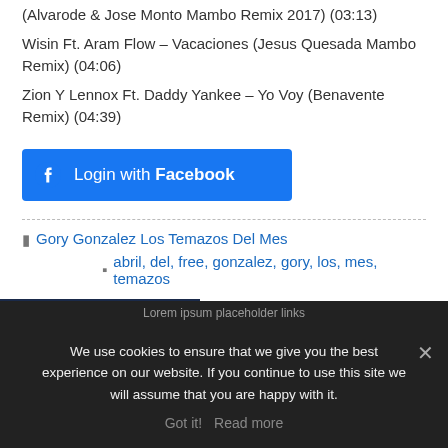(Alvarode & Jose Monto Mambo Remix 2017) (03:13)
Wisin Ft. Aram Flow – Vacaciones (Jesus Quesada Mambo Remix) (04:06)
Zion Y Lennox Ft. Daddy Yankee – Yo Voy (Benavente Remix) (04:39)
[Figure (other): Login with Facebook button]
Gory Gonzalez Los Temazos Del Mes
abril, del, free, gonzalez, gory, los, mes, temazos
April 29, 2017
We use cookies to ensure that we give you the best experience on our website. If you continue to use this site we will assume that you are happy with it.
Got it!  Read more